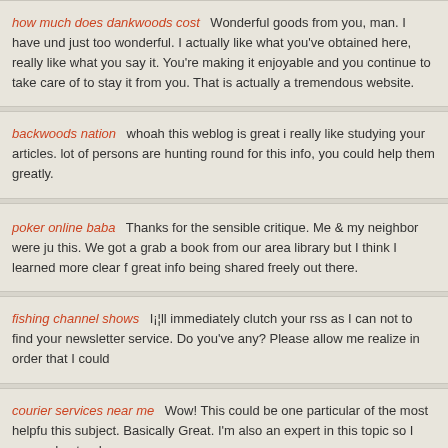how much does dankwoods cost — Wonderful goods from you, man. I have und... just too wonderful. I actually like what you've obtained here, really like what you say it. You're making it enjoyable and you continue to take care of to stay it from you. That is actually a tremendous website.
backwoods nation — whoah this weblog is great i really like studying your articles... lot of persons are hunting round for this info, you could help them greatly.
poker online baba — Thanks for the sensible critique. Me & my neighbor were ju... this. We got a grab a book from our area library but I think I learned more clear f... great info being shared freely out there.
fishing channel shows — I¡¦ll immediately clutch your rss as I can not to find your... newsletter service. Do you've any? Please allow me realize in order that I could...
courier services near me — Wow! This could be one particular of the most helpfu... this subject. Basically Great. I'm also an expert in this topic so I can understand...